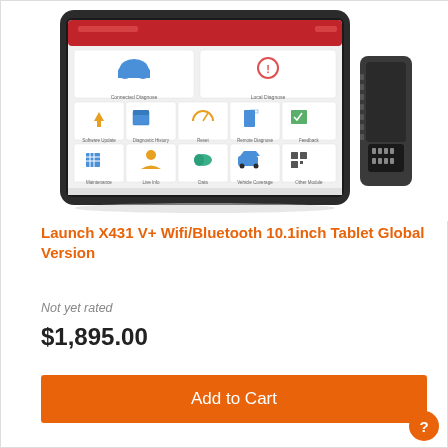[Figure (photo): Launch X431 V+ diagnostic tablet with 10.1 inch screen showing app interface including Connected Diagnose, Local Diagnose, Software Update, Diagnostic History, Reset, Remote Diagnose, Feedback, Maintenance, Live Info, Data, Vehicle Coverage, Other Module icons, alongside a black OBD connector dongle]
Launch X431 V+ Wifi/Bluetooth 10.1inch Tablet Global Version
Not yet rated
$1,895.00
Add to Cart